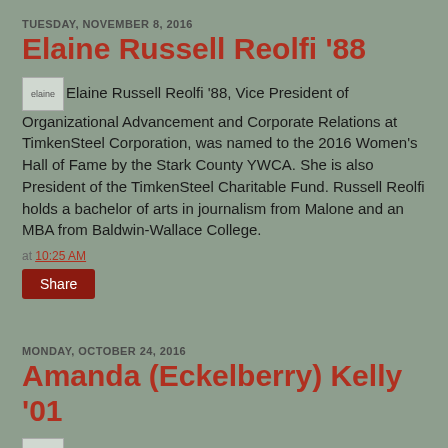TUESDAY, NOVEMBER 8, 2016
Elaine Russell Reolfi '88
Elaine Russell Reolfi '88, Vice President of Organizational Advancement and Corporate Relations at TimkenSteel Corporation, was named to the 2016 Women's Hall of Fame by the Stark County YWCA. She is also President of the TimkenSteel Charitable Fund. Russell Reolfi holds a bachelor of arts in journalism from Malone and an MBA from Baldwin-Wallace College.
at 10:25 AM
Share
MONDAY, OCTOBER 24, 2016
Amanda (Eckelberry) Kelly '01
Amanda (Eckelberry) Kelly, '01, was recently awarded the Ohio Society for Public Health...